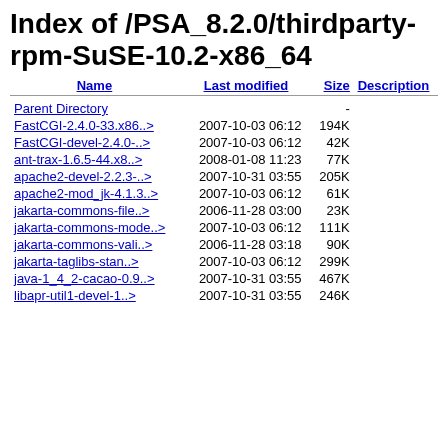Index of /PSA_8.2.0/thirdparty-rpm-SuSE-10.2-x86_64
| Name | Last modified | Size | Description |
| --- | --- | --- | --- |
| Parent Directory |  | - |  |
| FastCGI-2.4.0-33.x86..> | 2007-10-03 06:12 | 194K |  |
| FastCGI-devel-2.4.0-..> | 2007-10-03 06:12 | 42K |  |
| ant-trax-1.6.5-44.x8..> | 2008-01-08 11:23 | 77K |  |
| apache2-devel-2.2.3-..> | 2007-10-31 03:55 | 205K |  |
| apache2-mod_jk-4.1.3..> | 2007-10-03 06:12 | 61K |  |
| jakarta-commons-file..> | 2006-11-28 03:00 | 23K |  |
| jakarta-commons-mode..> | 2007-10-03 06:12 | 111K |  |
| jakarta-commons-vali..> | 2006-11-28 03:18 | 90K |  |
| jakarta-taglibs-stan..> | 2007-10-03 06:12 | 299K |  |
| java-1_4_2-cacao-0.9..> | 2007-10-31 03:55 | 467K |  |
| libapr-util1-devel-1..> | 2007-10-31 03:55 | 246K |  |